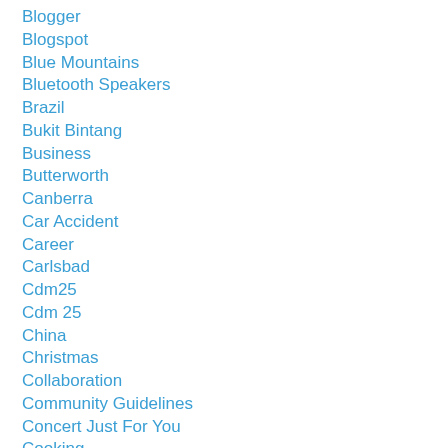Blogger
Blogspot
Blue Mountains
Bluetooth Speakers
Brazil
Bukit Bintang
Business
Butterworth
Canberra
Car Accident
Career
Carlsbad
Cdm25
Cdm 25
China
Christmas
Collaboration
Community Guidelines
Concert Just For You
Cooking
Corporate